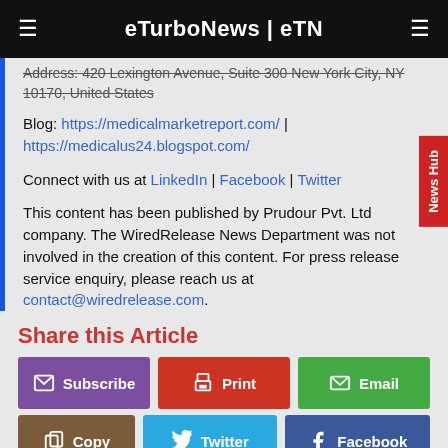eTurboNews | eTN
Address: 420 Lexington Avenue, Suite 300 New York City, NY 10170, United States
Blog: https://medicalmarketreport.com/ | https://medicalus24.blogspot.com/
Connect with us at LinkedIn | Facebook | Twitter
This content has been published by Prudour Pvt. Ltd company. The WiredRelease News Department was not involved in the creation of this content. For press release service enquiry, please reach us at contact@wiredrelease.com.
Share this Article
Subscribe
Print
Email
Copy
Twitter
Facebook